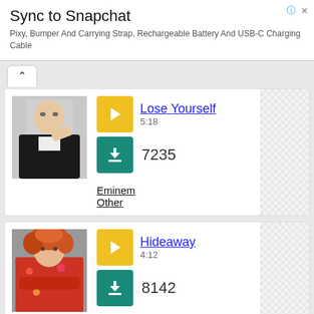[Figure (infographic): Advertisement banner for Sync to Snapchat product - Pixy, Bumper And Carrying Strap, Rechargeable Battery And USB-C Charging Cable]
Sync to Snapchat
Pixy, Bumper And Carrying Strap, Rechargeable Battery And USB-C Charging Cable
[Figure (photo): Artist photo of Eminem in black jacket]
Lose Yourself
5:18
7235
Eminem
Other
[Figure (photo): Artist photo of a female artist with curly red hair]
Hideaway
4:12
8142